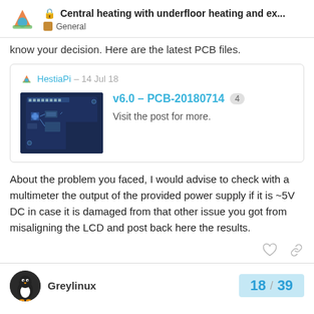Central heating with underfloor heating and ex... | General
know your decision. Here are the latest PCB files.
[Figure (screenshot): Embedded forum post card from HestiaPi dated 14 Jul 18, showing a PCB thumbnail image and link titled 'v6.0 – PCB-20180714' with 4 replies, and description 'Visit the post for more.']
About the problem you faced, I would advise to check with a multimeter the output of the provided power supply if it is ~5V DC in case it is damaged from that other issue you got from misaligning the LCD and post back here the results.
Greylinux
18 / 39